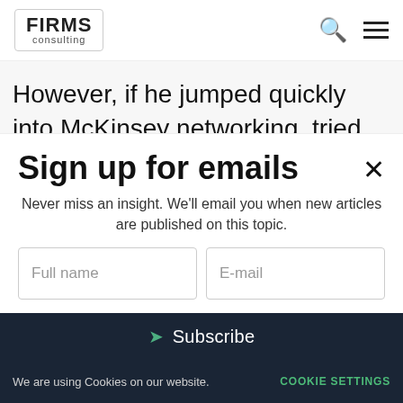FIRMS consulting
However, if he jumped quickly into McKinsey networking. tried this and it went poorly. he would
Sign up for emails
Never miss an insight. We'll email you when new articles are published on this topic.
Full name
E-mail
Subscribe
We are using Cookies on our website. COOKIE SETTINGS